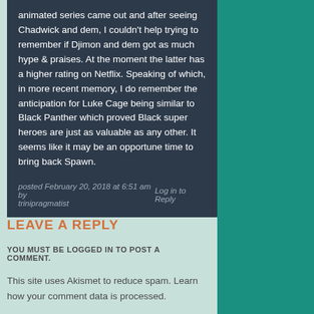animated series came out and after seeing Chadwick and dem, I couldn't help trying to remember if Djimon and dem got as much hype & praises. At the moment the latter has a higher rating on Netflix. Speaking of which, in more recent memory, I do remember the anticipation for Luke Cage being similar to Black Panther which proved Black super heroes are just as valuable as any other. It seems like it may be an opportune time to bring back Spawn.
posted February 20, 2018 at 6:51 am by trinipragmatist   Log in to Reply
LEAVE A REPLY
YOU MUST BE LOGGED IN TO POST A COMMENT.
This site uses Akismet to reduce spam. Learn how your comment data is processed.